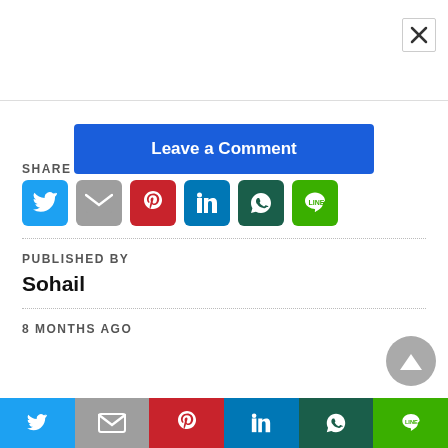[Figure (screenshot): Close (X) button in top right corner]
[Figure (other): Blue 'Leave a Comment' button]
SHARE
[Figure (other): Social share icons: Twitter, Gmail, Pinterest, LinkedIn, WhatsApp, Line]
PUBLISHED BY
Sohail
8 MONTHS AGO
[Figure (other): Bottom social share bar with Twitter, Gmail, Pinterest, LinkedIn, WhatsApp, Line icons]